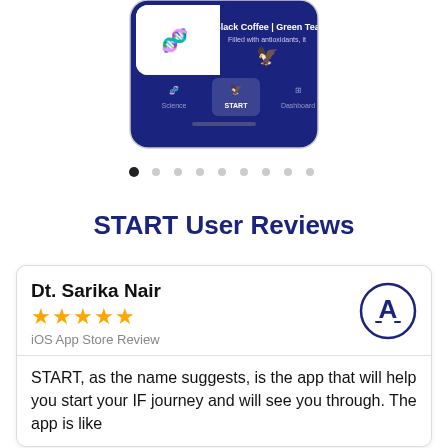[Figure (screenshot): Partial view of a smartphone app screenshot showing a dark blue interface with Black Coffee | Green Tea text and navigation tabs: Science, START, Dashboard]
[Figure (infographic): Pagination dots row: 9 dots with first dot filled/dark and rest grey]
START User Reviews
Dt. Sarika Nair
★★★★★
iOS App Store Review
START, as the name suggests, is the app that will help you start your IF journey and will see you through. The app is like